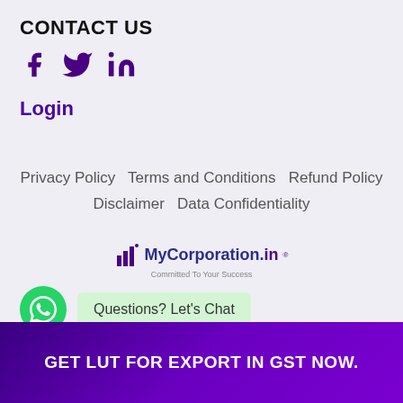CONTACT US
[Figure (other): Social media icons: Facebook, Twitter, LinkedIn in purple]
Login
Privacy Policy   Terms and Conditions   Refund Policy   Disclaimer   Data Confidentiality
[Figure (logo): MyCorporation.in logo with bar chart icon and tagline 'Committed To Your Success']
Questions? Let's Chat
© Mycorporation 2013-2021 / All Rights Reserved -
GET LUT FOR EXPORT IN GST NOW.